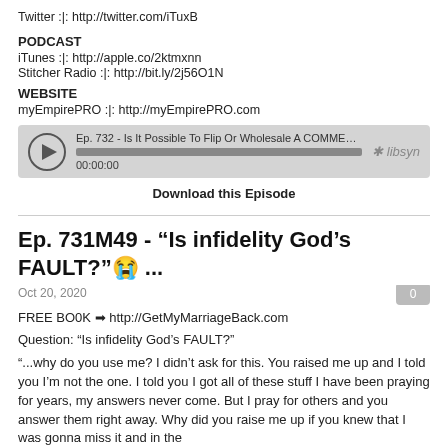Twitter :|: http://twitter.com/iTuxB
PODCAST
iTunes :|: http://apple.co/2ktmxnn
Stitcher Radio :|: http://bit.ly/2j56O1N
WEBSITE
myEmpirePRO :|: http://myEmpirePRO.com
[Figure (screenshot): Audio player widget showing episode 'Ep. 732 - Is It Possible To Flip Or Wholesale A COMMERCI...' with play button, progress bar, timestamp 00:00:00, and Libsyn logo]
Download this Episode
Ep. 731M49 - “Is infidelity God’s FAULT?”😭 ...
Oct 20, 2020
FREE BOOK ➜ http://GetMyMarriageBack.com
Question: “Is infidelity God’s FAULT?”
“...why do you use me? I didn’t ask for this. You raised me up and I told you I’m not the one. I told you I got all of these stuff I have been praying for years, my answers never come. But I pray for others and you answer them right away. Why did you raise me up if you knew that I was gonna miss it and in the